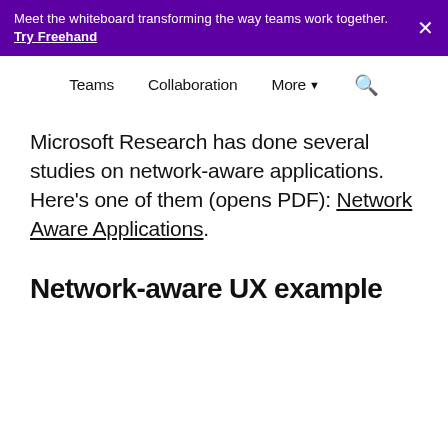Meet the whiteboard transforming the way teams work together. Try Freehand ×
Teams  Collaboration  More ▾  🔍
Microsoft Research has done several studies on network-aware applications. Here's one of them (opens PDF): Network Aware Applications.
Network-aware UX example